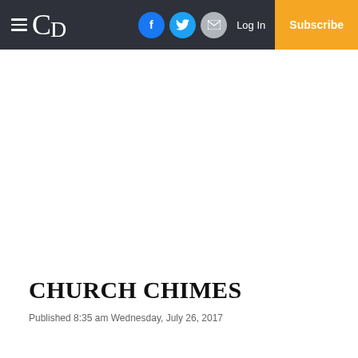CD — Log In | Subscribe
CHURCH CHIMES
Published 8:35 am Wednesday, July 26, 2017